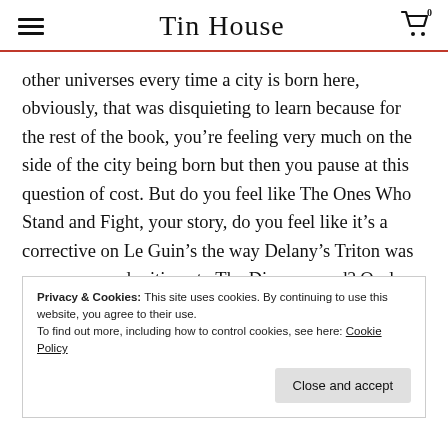Tin House
other universes every time a city is born here, obviously, that was disquieting to learn because for the rest of the book, you’re feeling very much on the side of the city being born but then you pause at this question of cost. But do you feel like The Ones Who Stand and Fight, your story, do you feel like it’s a corrective on Le Guin’s the way Delany’s Triton was a response and critique to The Dispossessed? Or does it feel more closer to fanfic
Privacy & Cookies: This site uses cookies. By continuing to use this website, you agree to their use.
To find out more, including how to control cookies, see here: Cookie Policy
Close and accept